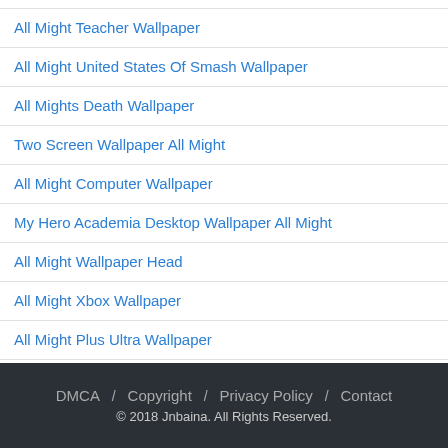All Might Teacher Wallpaper
All Might United States Of Smash Wallpaper
All Mights Death Wallpaper
Two Screen Wallpaper All Might
All Might Computer Wallpaper
My Hero Academia Desktop Wallpaper All Might
All Might Wallpaper Head
All Might Xbox Wallpaper
All Might Plus Ultra Wallpaper
DMCA / Copyright / Privacy Policy / Contact © 2018 Jnbaina. All Rights Reserved.